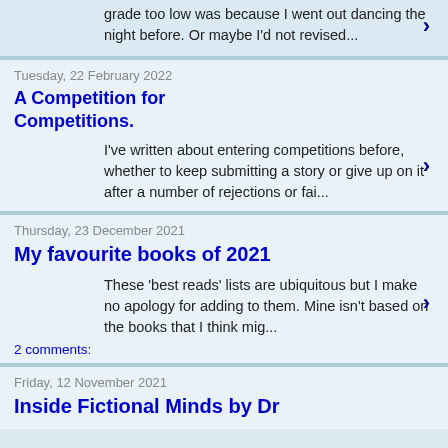Perhaps the reason one of my A-Levels was a grade too low was because I went out dancing the night before. Or maybe I'd not revised...
Tuesday, 22 February 2022
A Competition for Competitions.
I've written about entering competitions before, whether to keep submitting a story or give up on it after a number of rejections or fai...
Thursday, 23 December 2021
My favourite books of 2021
These 'best reads' lists are ubiquitous but I make no apology for adding to them. Mine isn't based on the books that I think mig...
2 comments:
Friday, 12 November 2021
Inside Fictional Minds by Dr